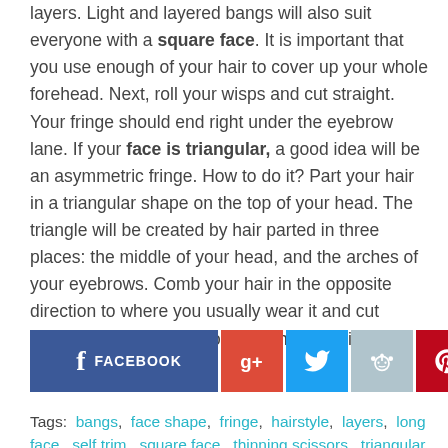layers. Light and layered bangs will also suit everyone with a square face. It is important that you use enough of your hair to cover up your whole forehead. Next, roll your wisps and cut straight. Your fringe should end right under the eyebrow lane. If your face is triangular, a good idea will be an asymmetric fringe. How to do it? Part your hair in a triangular shape on the top of your head. The triangle will be created by hair parted in three places: the middle of your head, and the arches of your eyebrows. Comb your hair in the opposite direction to where you usually wear it and cut straight. Here you go, your new hairstyle is ready.
[Figure (infographic): Social media sharing buttons: Facebook, Google+, Twitter, Reddit, Pinterest, StumbleUpon, Email]
Tags: bangs, face shape, fringe, hairstyle, layers, long face, self trim, square face, thinning scissors, triangular